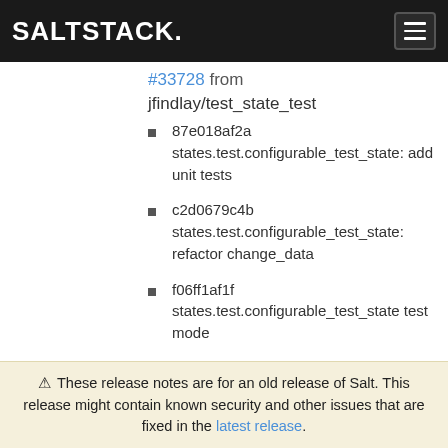SALTSTACK.
#33728 from jfindlay/test_state_test
87e018af2a states.test.configurable_test_state: add unit tests
c2d0679c4b states.test.configurable_test_state: refactor change_data
f06ff1af1f states.test.configurable_test_state test mode
1ef8fe2f1d Merge pull request
⚠ These release notes are for an old release of Salt. This release might contain known security and other issues that are fixed in the latest release.